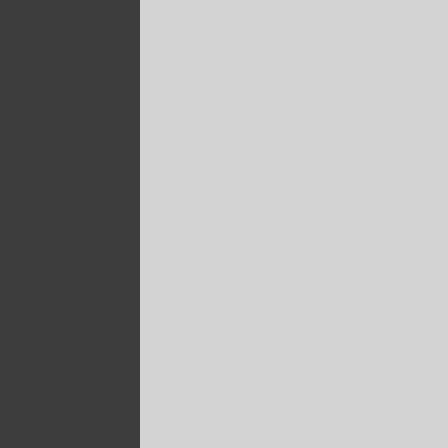If You Missed Obama's Spe...
chose Detroit as one of the... Communities" initiative. We... boosting economic develop... involves you. Because des... city where men clocked int... has ever known. This is the... for democracy to free the w... life and the industries of tor... courageous and clever, are... chapter in our history."
Political disarray threatens
Obama Delivers The Fiery ...
Postal Service Is Nearing D...
Infrastructure Likely Part of ...
propose a major infrastruct... he planned to deliver Thurs...
The Price of 9/11
US Firms Paid More to CEO...
Executive Excess 2011: Th...
An Imminent Downturn: Wh...
that demands a decision - v...
Pension funds in new crisis...